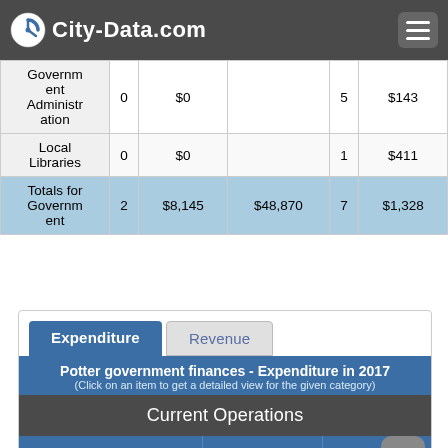City-Data.com
|  |  | $0 |  | 5 | $143 |
| --- | --- | --- | --- | --- | --- |
| Government Administration | 0 | $0 |  | 5 | $143 |
| Local Libraries | 0 | $0 |  | 1 | $411 |
| Totals for Government | 2 | $8,145 | $48,870 | 7 | $1,328 |
Expenditure | Revenue
Potter government finances - Expenditure in 2017
(Click on an item to get a detailed view for the given category)
Current Operations
Central Staff Services | Water Utilities | R... Highways